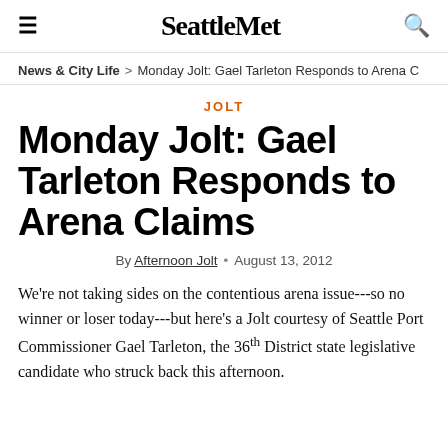SeattleMet
News & City Life > Monday Jolt: Gael Tarleton Responds to Arena C
JOLT
Monday Jolt: Gael Tarleton Responds to Arena Claims
By Afternoon Jolt • August 13, 2012
We're not taking sides on the contentious arena issue---so no winner or loser today---but here's a Jolt courtesy of Seattle Port Commissioner Gael Tarleton, the 36th District state legislative candidate who struck back this afternoon.